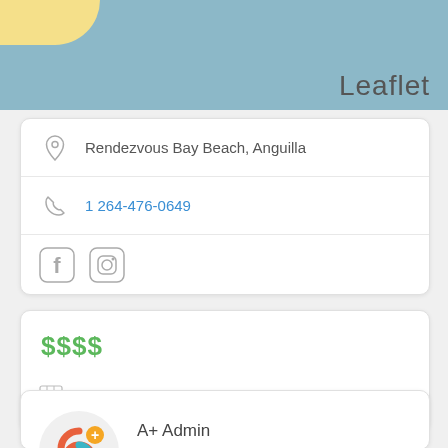[Figure (illustration): Map header with blue background, yellow wave in top-left corner, and 'Leaflet' label in bottom-right]
Rendezvous Bay Beach, Anguilla
1 264-476-0649
[Figure (illustration): Facebook and Instagram social media icons]
$$$$
Own or work here? Claim Now!
A+ Admin
[Figure (logo): A+ Admin logo with colorful swirl and plus badge, with Instagram icon below]